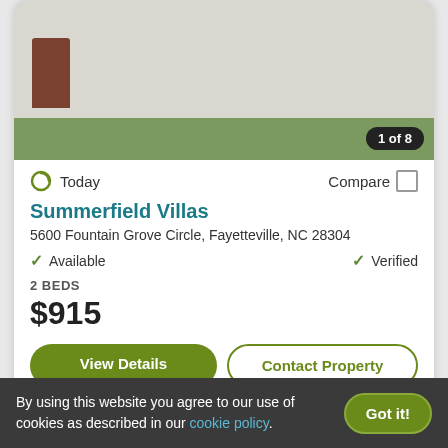[Figure (photo): Exterior photo of residential property with grass lawn, showing counter badge '1 of 8']
Today
Compare
Summerfield Villas
5600 Fountain Grove Circle, Fayetteville, NC 28304
Available
Verified
2 BEDS
$915
View Details
Contact Property
[Figure (photo): Partial photo of second property listing showing sky and trees]
By using this website you agree to our use of cookies as described in our cookie policy.
Got it!